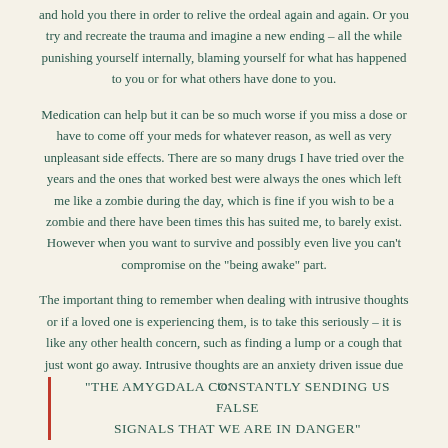and hold you there in order to relive the ordeal again and again. Or you try and recreate the trauma and imagine a new ending – all the while punishing yourself internally, blaming yourself for what has happened to you or for what others have done to you.
Medication can help but it can be so much worse if you miss a dose or have to come off your meds for whatever reason, as well as very unpleasant side effects. There are so many drugs I have tried over the years and the ones that worked best were always the ones which left me like a zombie during the day, which is fine if you wish to be a zombie and there have been times this has suited me, to barely exist. However when you want to survive and possibly even live you can't compromise on the "being awake" part.
The important thing to remember when dealing with intrusive thoughts or if a loved one is experiencing them, is to take this seriously – it is like any other health concern, such as finding a lump or a cough that just wont go away. Intrusive thoughts are an anxiety driven issue due to:
"THE AMYGDALA CONSTANTLY SENDING US FALSE SIGNALS THAT WE ARE IN DANGER"